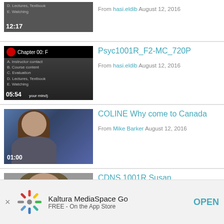[Figure (screenshot): Partially visible video thumbnail with list items and timer 12:17]
From hasi.eldib August 12, 2016
[Figure (screenshot): Video thumbnail showing Chapter 00: F with list items and timer 05:54]
Psyc1001R_F2-MC_720P
From hasi.eldib August 12, 2016
[Figure (photo): Video thumbnail of woman in front of blue background with timer 01:00]
COLINE Why come to Canada
From Mike Barker August 12, 2016
[Figure (photo): Partial video thumbnail of person]
CDNS 1001R Susan
Kaltura MediaSpace Go FREE - On the App Store